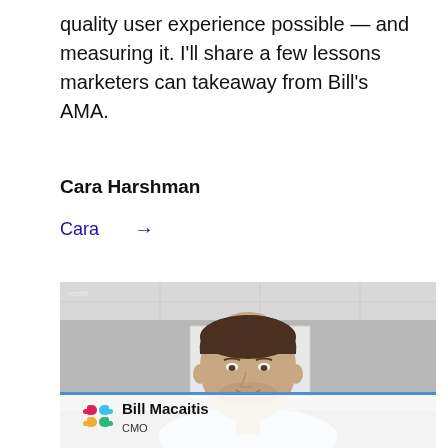quality user experience possible — and measuring it. I'll share a few lessons marketers can takeaway from Bill's AMA.
Cara Harshman
Cara →
[Figure (photo): Video screenshot of Bill Macaitis, CMO, with Slack logo in the lower left corner and a name bar reading 'Bill Macaitis CMO']